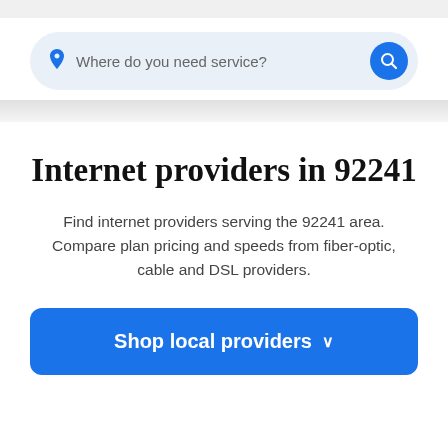[Figure (screenshot): Search bar with location pin icon and placeholder text 'Where do you need service?' and a blue circular search button]
Internet providers in 92241
Find internet providers serving the 92241 area. Compare plan pricing and speeds from fiber-optic, cable and DSL providers.
Shop local providers ∨